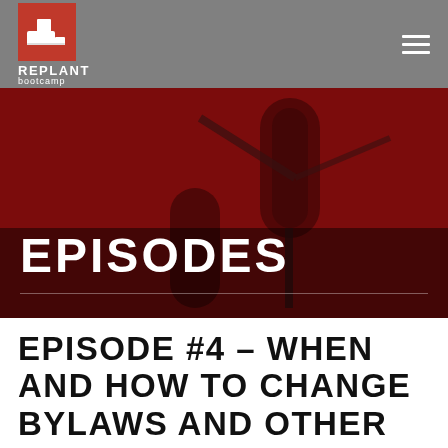[Figure (logo): Replant Bootcamp logo — boot icon in red bordered box, with REPLANT in bold white and bootcamp below]
[Figure (photo): Red-tinted photo of a professional studio microphone setup against a red background]
EPISODES
EPISODE #4 – WHEN AND HOW TO CHANGE BYLAWS AND OTHER